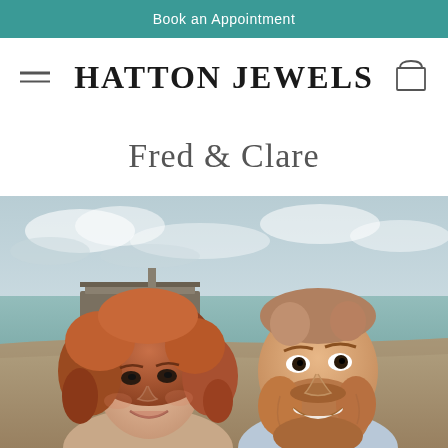Book an Appointment
HATTON JEWELS
Fred & Clare
[Figure (photo): A couple smiling at the camera on a beach. The woman has curly red hair and the man has a beard. Background shows the sea, a stone pier/harbour wall, and a cloudy sky.]